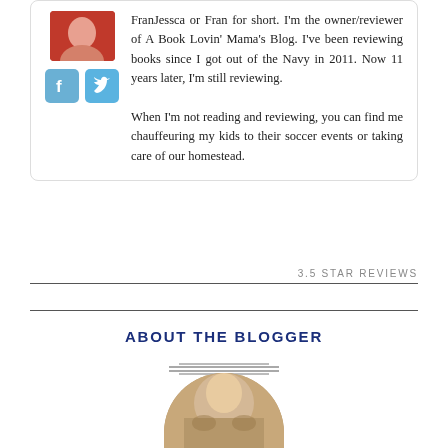FranJessca or Fran for short. I'm the owner/reviewer of A Book Lovin' Mama's Blog. I've been reviewing books since I got out of the Navy in 2011. Now 11 years later, I'm still reviewing. When I'm not reading and reviewing, you can find me chauffeuring my kids to their soccer events or taking care of our homestead.
3.5 STAR REVIEWS
ABOUT THE BLOGGER
[Figure (photo): Circular profile photo at the bottom of the page]